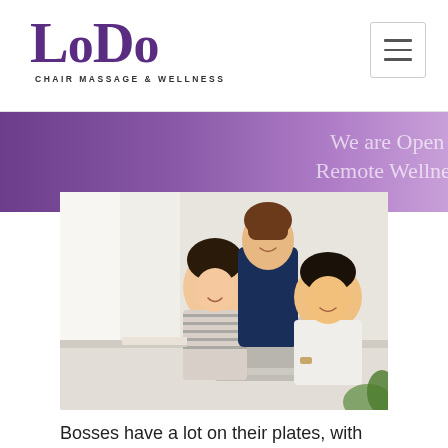LoDo CHAIR MASSAGE & WELLNESS
We are Open fo
Remote Wellness
[Figure (photo): Three smiling Asian women in an office setting, gathered around a laptop on a white desk. One woman is standing behind two seated/leaning women.]
Bosses have a lot on their plates, with agendas ranging from planning to scheduling to budgeting. The diversity of critical tasks...